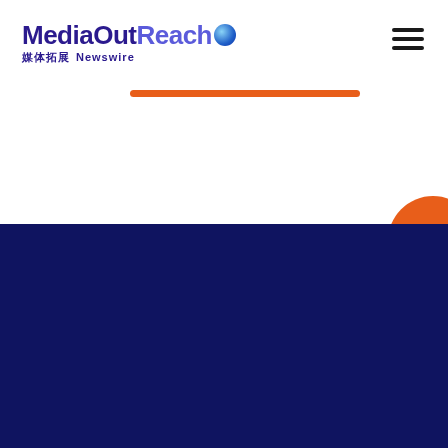[Figure (logo): MediaOutReach logo with globe icon and Chinese and English subtitle]
[Figure (other): Orange horizontal divider bar]
[Figure (other): Hamburger menu icon (three horizontal lines)]
[Figure (logo): MediaOutReach logo white version on dark blue background]
Services
Key Features
Distribution Network
Newsroom
Clients' Success Stories
Cloud Comrade
CUHK Business School
Creative Consulting Group